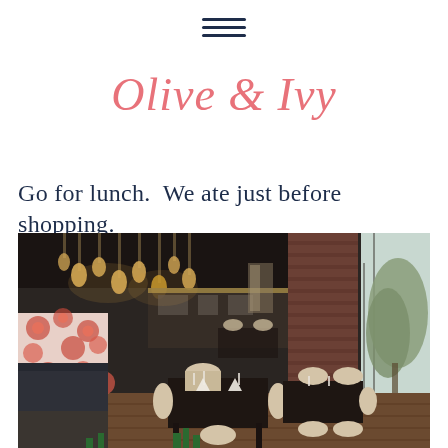[Figure (other): Hamburger menu icon — three horizontal dark navy lines]
Olive & Ivy
Go for lunch.  We ate just before shopping.
[Figure (photo): Interior of Olive & Ivy restaurant showing floral-patterned booth seating, round chairs, dark wood tables set with glassware, pendant lighting, open kitchen in background, and large windows with outdoor view]